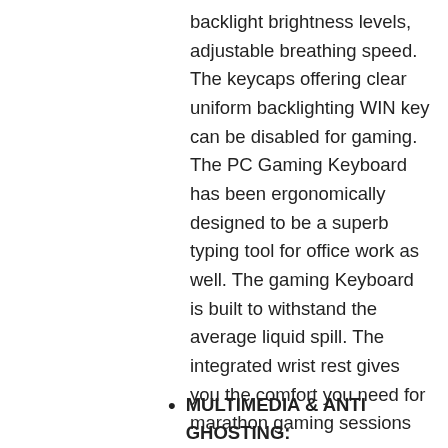backlight brightness levels, adjustable breathing speed. The keycaps offering clear uniform backlighting WIN key can be disabled for gaming. The PC Gaming Keyboard has been ergonomically designed to be a superb typing tool for office work as well. The gaming Keyboard is built to withstand the average liquid spill. The integrated wrist rest gives you the comfort you need for marathon gaming sessions
MULTIMEDIA & ANTI GHOSTING: